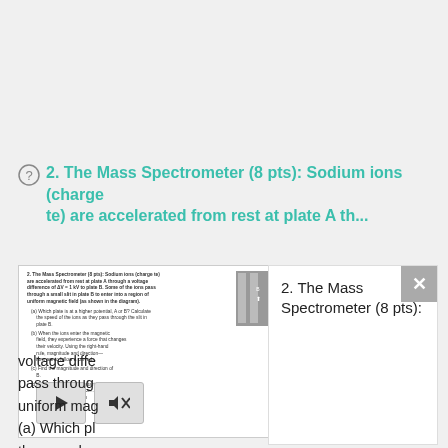2. The Mass Spectrometer (8 pts): Sodium ions (charge te) are accelerated from rest at plate A th...
[Figure (screenshot): A thumbnail of a physics exam problem page showing a mass spectrometer question with a diagram, alongside a preview panel showing the beginning of the same question. Media player controls (play and mute buttons) are visible at the bottom.]
voltage diffe... pass through... uniform mag... (a) Which pl... the speed o... plate...